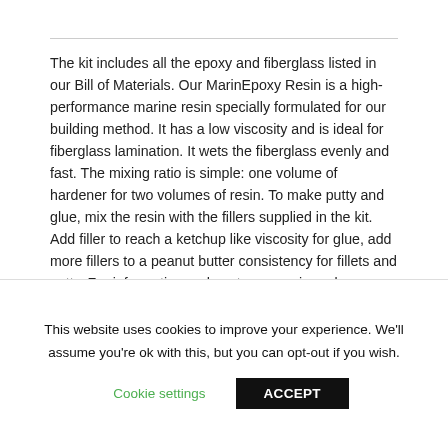The kit includes all the epoxy and fiberglass listed in our Bill of Materials. Our MarinEpoxy Resin is a high-performance marine resin specially formulated for our building method. It has a low viscosity and is ideal for fiberglass lamination. It wets the fiberglass evenly and fast. The mixing ratio is simple: one volume of hardener for two volumes of resin. To make putty and glue, mix the resin with the fillers supplied in the kit. Add filler to reach a ketchup like viscosity for glue, add more fillers to a peanut butter consistency for fillets and putty. For information on how to use resin and fiberglass please visit our tutorials.
This website uses cookies to improve your experience. We'll assume you're ok with this, but you can opt-out if you wish.